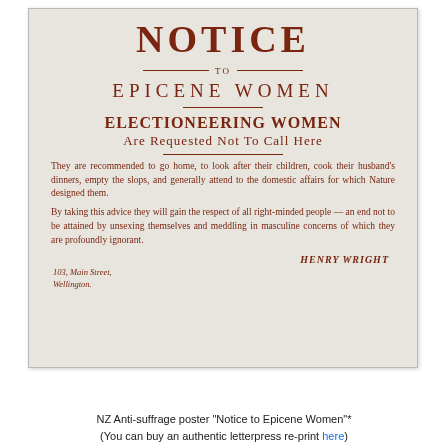[Figure (illustration): Historical anti-suffrage poster titled 'Notice to Epicene Women' by Henry Wright, printed on aged paper. Contains text in dark red/brown ink warning electioneering women to go home. Address given as 103, Main Street, Wellington.]
NZ Anti-suffrage poster "Notice to Epicene Women"*
(You can buy an authentic letterpress re-print here)